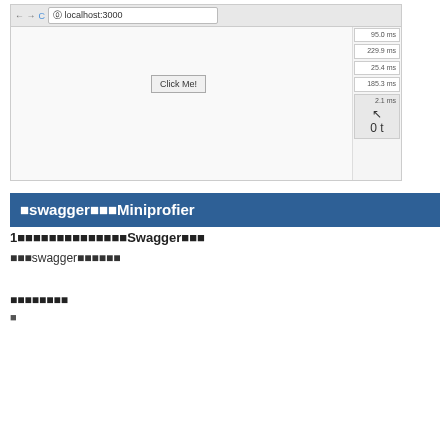[Figure (screenshot): Browser screenshot showing localhost:3000 with a 'Click Me!' button and a MiniProfiler panel on the right showing timing values: 95.0ms, 229.9ms, 25.4ms, 185.3ms, and 2.1ms with a cursor icon]
■swagger■■■Miniprofier
1■■■■■■■■■■■■■■Swagger■■■
■■■swagger■■■■■■
■■■■■■■■
■